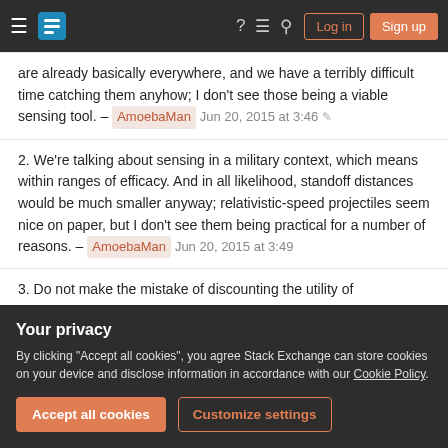Stack Exchange navigation bar with hamburger menu, logo, help, chat, search icons, Log in and Sign up buttons
are already basically everywhere, and we have a terribly difficult time catching them anyhow; I don't see those being a viable sensing tool. – AmoebaMan Jun 20, 2015 at 3:46
2. We're talking about sensing in a military context, which means within ranges of efficacy. And in all likelihood, standoff distances would be much smaller anyway; relativistic-speed projectiles seem nice on paper, but I don't see them being practical for a number of reasons. – AmoebaMan Jun 20, 2015 at 3:49
3. Do not make the mistake of discounting the utility of
Your privacy
By clicking "Accept all cookies", you agree Stack Exchange can store cookies on your device and disclose information in accordance with our Cookie Policy.
Accept all cookies
Customize settings
so because you failed to address the very first point